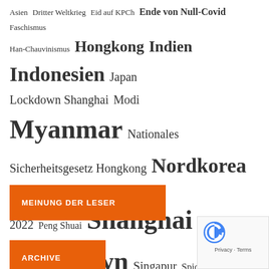[Figure (infographic): Tag cloud with German-language topics related to Asia, politics, and current events. Terms vary in font size indicating frequency/importance. Includes: Asien, Dritter Weltkrieg, Eid auf KPCh, Ende von Null-Covid, Faschismus, Han-Chauvinismus, Hongkong, Indien, Indonesien, Japan, Lockdown Shanghai, Modi, Myanmar, Nationales Sicherheitsgesetz Hongkong, Nordkorea, Pakistan, Peking 2022, Peng Shuai, Shanghai Lockdown, Singapur, Spion, Spionage, Sri Lanka, Südkorea, Taiwan, Thailand, TSCM, TSMC, Umwelt Asien, Winter-Olympiade 2022 Peking, Wuhan-Fledermaus-Labor, Wuhan-Virus, Xi-Na, Xi Jinping]
MEINUNG DER LESER
ARCHIVE